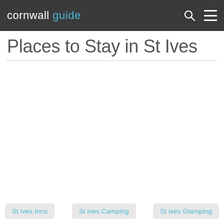cornwall guide
Places to Stay in St Ives
[Figure (other): Large image area below the title, appears blank/white (image not loaded)]
St ives Inns
St ives Camping
St ives Glamping